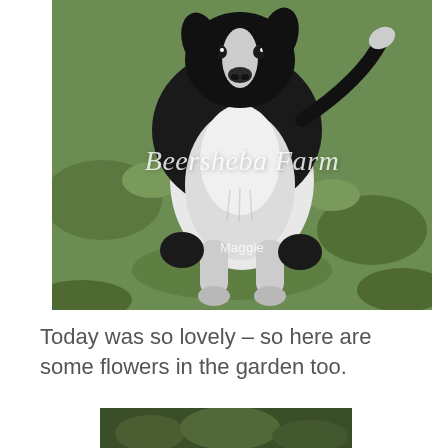[Figure (photo): A black and white Border Collie dog sitting on grass, looking at the camera. The dog has a fluffy white chest and black back. Overlaid text reads 'Beersheba Farm' in white italic script, and 'Maggie' below it in smaller white text.]
Today was so lovely – so here are some flowers in the garden too.
[Figure (photo): Partial view of a garden photo, cropped at the bottom of the page, showing dark green foliage.]